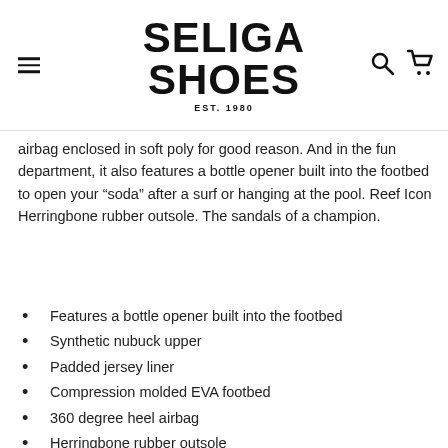SELIGA SHOES EST.1980
airbag enclosed in soft poly for good reason. And in the fun department, it also features a bottle opener built into the footbed to open your “soda” after a surf or hanging at the pool. Reef Icon Herringbone rubber outsole. The sandals of a champion.
Features a bottle opener built into the footbed
Synthetic nubuck upper
Padded jersey liner
Compression molded EVA footbed
360 degree heel airbag
Herringbone rubber outsole